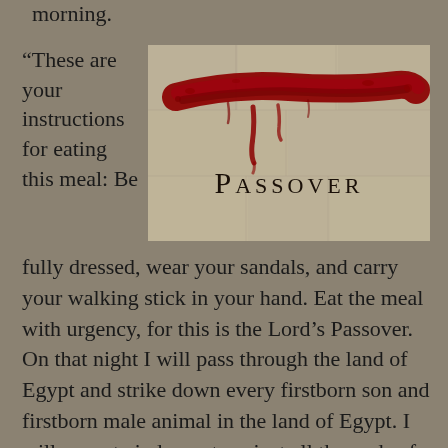morning.
[Figure (illustration): A Passover title image showing the word PASSOVER in serif typeface beneath a dramatic red brushstroke smear that looks like blood, against a textured stone/concrete background.]
“These are your instructions for eating this meal: Be fully dressed, wear your sandals, and carry your walking stick in your hand. Eat the meal with urgency, for this is the Lord’s Passover. On that night I will pass through the land of Egypt and strike down every firstborn son and firstborn male animal in the land of Egypt. I will execute judgment against all the gods of Egypt, for I am the Lord! But the blood on your doorposts will serve as a sign, marking the houses where you are staying. When I see the blood, I will pass over you.